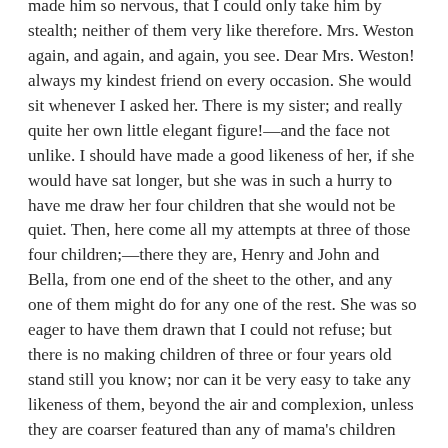made him so nervous, that I could only take him by stealth; neither of them very like therefore. Mrs. Weston again, and again, and again, you see. Dear Mrs. Weston! always my kindest friend on every occasion. She would sit whenever I asked her. There is my sister; and really quite her own little elegant figure!—and the face not unlike. I should have made a good likeness of her, if she would have sat longer, but she was in such a hurry to have me draw her four children that she would not be quiet. Then, here come all my attempts at three of those four children;—there they are, Henry and John and Bella, from one end of the sheet to the other, and any one of them might do for any one of the rest. She was so eager to have them drawn that I could not refuse; but there is no making children of three or four years old stand still you know; nor can it be very easy to take any likeness of them, beyond the air and complexion, unless they are coarser featured than any of mama's children ever were. Here is my sketch of the fourth, who was a baby. I took him as he was sleeping on the sofa, and it is as strong a likeness of his cockade as you would wish to see. He had nestled down his head most conveniently. That's very like. I am rather proud of little George.